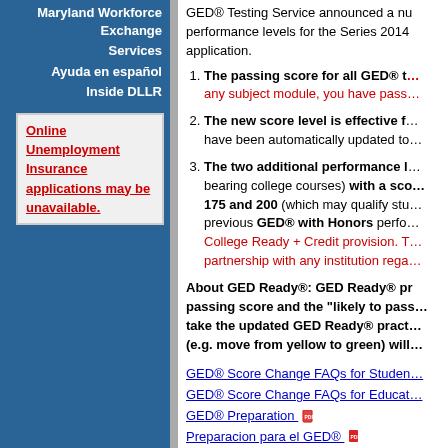Maryland Workforce Exchange
Services
Ayuda en español
Inside DLLR
Online Unemployment Insurance applications may be unavailable.
GED® Testing Service announced a number of changes to performance levels for the Series 2014 GED® test application.
The passing score for all GED® tests is now 145. If you score 145 or above on any subject module, you have passed that module.
The new score level is effective for testing taken since January 2014. Any scores that were passing have been automatically updated to reflect the new performance levels.
The two additional performance levels are GED® College Ready (which may qualify students to skip remedial, non-credit-bearing college courses) with a score between 165 and 174, and GED® College Ready + Credit 175 and 200 (which may qualify students for college credit). These levels replace the previous GED® with Honors performance level. College Ready + Credit provision. The GED® Testing Service does not have a partnership with any institution regarding college credit.
About GED Ready®: GED Ready® passing score and the "likely to pass" take the updated GED Ready® practice (e.g. move from yellow to green) will
GED® Score Change FAQs for Students
GED® Score Change FAQs for Educators
GED® Preparation
Preparacion para el GED®
Taking the GED® Test
Cómo realizar el examen GED®